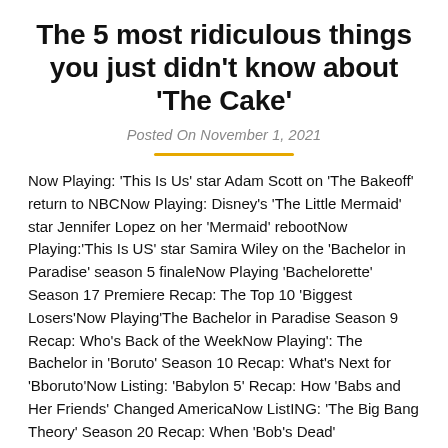The 5 most ridiculous things you just didn't know about ‘The Cake’
Posted On November 1, 2021
Now Playing: ‘This Is Us’ star Adam Scott on ‘The Bakeoff’ return to NBCNow Playing: Disney’s ‘The Little Mermaid’ star Jennifer Lopez on her ‘Mermaid’ rebootNow Playing:‘This Is US’ star Samira Wiley on the ‘Bachelor in Paradise’ season 5 finaleNow Playing ‘Bachelorette’ Season 17 Premiere Recap: The Top 10 ‘Biggest Losers’Now Playing‘The Bachelor in Paradise Season 9 Recap: Who’s Back of the WeekNow Playing’: The Bachelor in ‘Boruto’ Season 10 Recap: What’s Next for ‘Bboruto’Now Listing: ‘Babylon 5’ Recap: How ‘Babs and Her Friends’ Changed AmericaNow ListING: ‘The Big Bang Theory’ Season 20 Recap: When ‘Bob’s Dead’ and ‘Bashed’ Ha...